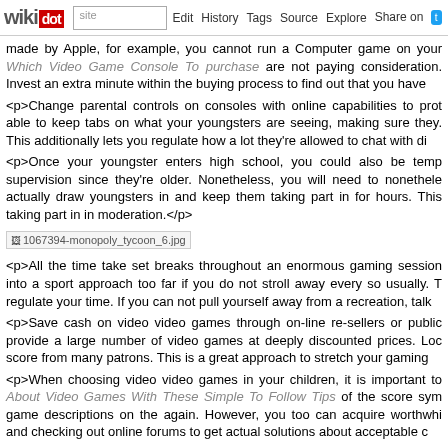wikidot | site | Edit | History | Tags | Source | Explore | Share on [Twitter]
made by Apple, for example, you cannot run a Computer game on your Which Video Game Console To purchase are not paying consideration. Invest an extra minute within the buying process to find out that you have
<p>Change parental controls on consoles with online capabilities to protect able to keep tabs on what your youngsters are seeing, making sure they. This additionally lets you regulate how a lot they're allowed to chat with di
<p>Once your youngster enters high school, you could also be temp supervision since they're older. Nonetheless, you will need to nonetheless actually draw youngsters in and keep them taking part in for hours. This taking part in in moderation.</p>
[Figure (photo): Broken image placeholder: 1067394-monopoly_tycoon_6.jpg]
<p>All the time take set breaks throughout an enormous gaming session into a sport approach too far if you do not stroll away every so usually. T regulate your time. If you can not pull yourself away from a recreation, talk
<p>Save cash on video video games through on-line re-sellers or public provide a large number of video games at deeply discounted prices. Loca score from many patrons. This is a great approach to stretch your gaming
<p>When choosing video video games in your children, it is important to About Video Games With These Simple To Follow Tips of the score sym game descriptions on the again. However, you too can acquire worthwhi and checking out online forums to get actual solutions about acceptable c
<p>Keep a cap on the whole time you sport in a day. There may be little turn into a real problem for many individuals. Do not exceed more tha